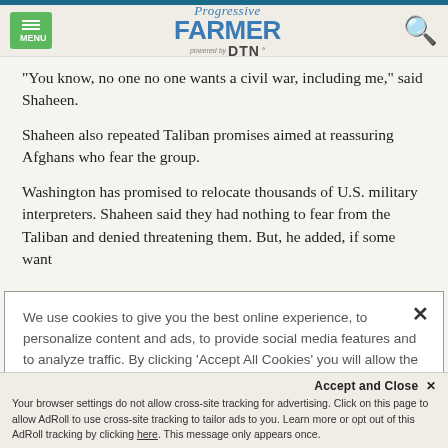Progressive Farmer powered by DTN
"You know, no one no one wants a civil war, including me," said Shaheen.
Shaheen also repeated Taliban promises aimed at reassuring Afghans who fear the group.
Washington has promised to relocate thousands of U.S. military interpreters. Shaheen said they had nothing to fear from the Taliban and denied threatening them. But, he added, if some want
We use cookies to give you the best online experience, to personalize content and ads, to provide social media features and to analyze traffic. By clicking 'Accept All Cookies' you will allow the use of these cookies. Your settings can be changed, including withdrawing your consent at any time, by clicking 'Cookie Settings'. Find out more on how we and third parties use cookies in our Cookie Policy
Accept and Close ✕ Your browser settings do not allow cross-site tracking for advertising. Click on this page to allow AdRoll to use cross-site tracking to tailor ads to you. Learn more or opt out of this AdRoll tracking by clicking here. This message only appears once.